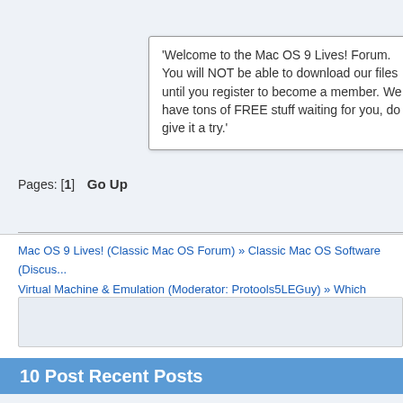I bought my first new Mac when OS X 10.1 rel... Mac when Apple...
'Welcome to the Mac OS 9 Lives! Forum. You will NOT be able to download our files until you register to become a member. We have tons of FREE stuff waiting for you, do give it a try.'
Pages: [1]  Go Up
Mac OS 9 Lives! (Classic Mac OS Forum) » Classic Mac OS Software (Discu... Virtual Machine & Emulation (Moderator: Protools5LEGuy) » Which version o...
Looking for Waves 4.0 TDM!
[Plugins (VST,TDM,RTAS,MAS)]
Cisco Aironet 350 PCMCIA driver for OS 9
[General Hardware Discussions]
Quicksilver sound sizzles in Mac OS 9.2.1
[System Utilities & File Management]
Poll, who wants a install CD for Early iBook G4's?
[Mac OS 9 Booting on Previously Unsupported Hardware]
917Mhz from 1.25Mhz DUAL left. Is my G4 dead?
[HELP BOARD! Installing & Troubleshooting the Classic MacOS!]